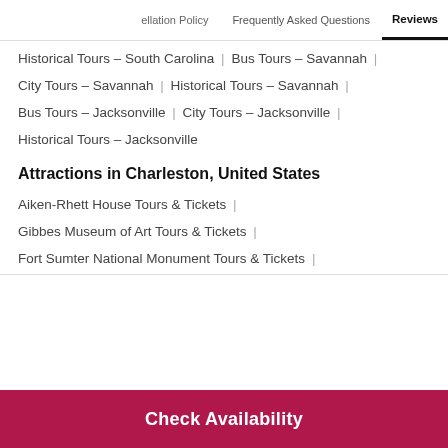ellation Policy | Frequently Asked Questions | Reviews
Historical Tours – South Carolina | Bus Tours – Savannah |
City Tours – Savannah | Historical Tours – Savannah |
Bus Tours – Jacksonville | City Tours – Jacksonville |
Historical Tours – Jacksonville
Attractions in Charleston, United States
Aiken-Rhett House Tours & Tickets |
Gibbes Museum of Art Tours & Tickets |
Fort Sumter National Monument Tours & Tickets |
Check Availability